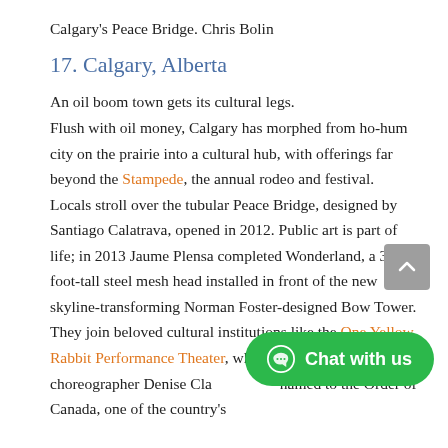Calgary's Peace Bridge. Chris Bolin
17. Calgary, Alberta
An oil boom town gets its cultural legs. Flush with oil money, Calgary has morphed from ho-hum city on the prairie into a cultural hub, with offerings far beyond the Stampede, the annual rodeo and festival. Locals stroll over the tubular Peace Bridge, designed by Santiago Calatrava, opened in 2012. Public art is part of life; in 2013 Jaume Plensa completed Wonderland, a 39-foot-tall steel mesh head installed in front of the new skyline-transforming Norman Foster-designed Bow Tower. They join beloved cultural institutions like the One Yellow Rabbit Performance Theater, whose dancer and choreographer Denise Clackson was named to the Order of Canada, one of the country's